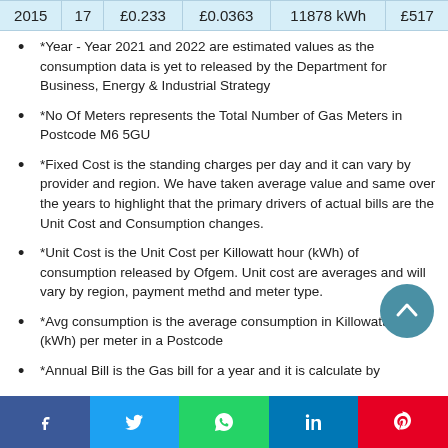| 2015 | 17 | £0.233 | £0.0363 | 11878 kWh | £517 |
*Year - Year 2021 and 2022 are estimated values as the consumption data is yet to released by the Department for Business, Energy & Industrial Strategy
*No Of Meters represents the Total Number of Gas Meters in Postcode M6 5GU
*Fixed Cost is the standing charges per day and it can vary by provider and region. We have taken average value and same over the years to highlight that the primary drivers of actual bills are the Unit Cost and Consumption changes.
*Unit Cost is the Unit Cost per Killowatt hour (kWh) of consumption released by Ofgem. Unit cost are averages and will vary by region, payment methd and meter type.
*Avg consumption is the average consumption in Killowatt hour (kWh) per meter in a Postcode
*Annual Bill is the Gas bill for a year and it is calculate by
f  [twitter]  [whatsapp]  in  [pinterest]